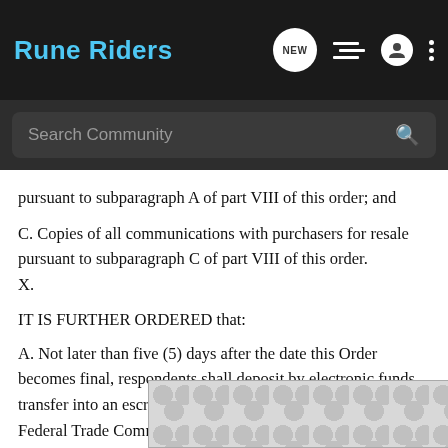Rune Riders
pursuant to subparagraph A of part VIII of this order; and
C. Copies of all communications with purchasers for resale pursuant to subparagraph C of part VIII of this order.
X.
IT IS FURTHER ORDERED that:
A. Not later than five (5) days after the date this Order becomes final, respondents shall deposit by electronic funds transfer into an escrow account to be established by the Federal Trade Commission for the purpose of receiving the payment due under the provisions of this order, the sum of two million dollars ($2,000[REDACTED]on to make pa[REDACTED]ant to